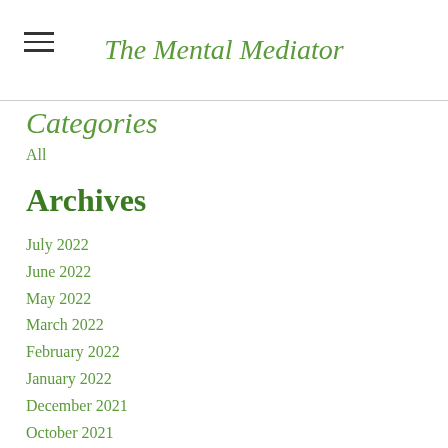The Mental Mediator
Categories
All
Archives
July 2022
June 2022
May 2022
March 2022
February 2022
January 2022
December 2021
October 2021
September 2021
July 2021
June 2021
May 2021
September 2020